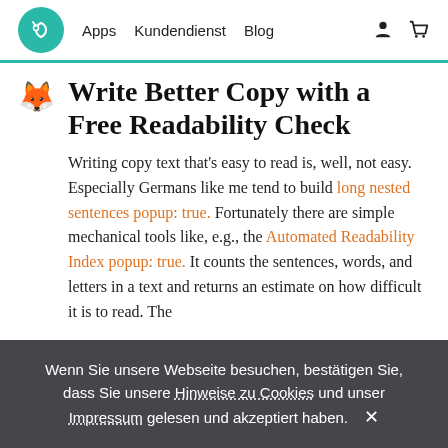Apps  Kundendienst  Blog
Write Better Copy with a Free Readability Check
Writing copy text that's easy to read is, well, not easy. Especially Germans like me tend to build long nested sentences popup: true. Fortunately there are simple mechanical tools like, e.g., the Automated Readability Index popup: true. It counts the sentences, words, and letters in a text and returns an estimate on how difficult it is to read. The
Wenn Sie unsere Webseite besuchen, bestätigen Sie, dass Sie unsere Hinweise zu Cookies und unser Impressum gelesen und akzeptiert haben.  ✕